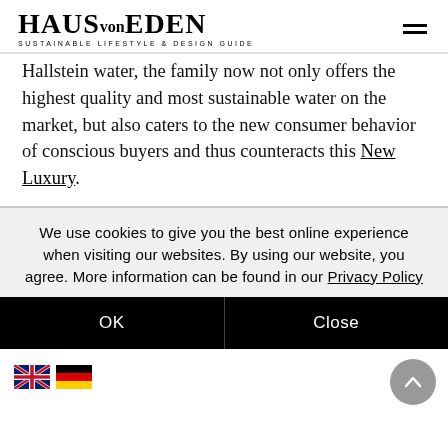HAUS von EDEN — SUSTAINABLE LIFESTYLE & DESIGN GUIDE
Hallstein water, the family now not only offers the highest quality and most sustainable water on the market, but also caters to the new consumer behavior of conscious buyers and thus counteracts this New Luxury.
We use cookies to give you the best online experience when visiting our websites. By using our website, you agree. More information can be found in our Privacy Policy
OK   Close